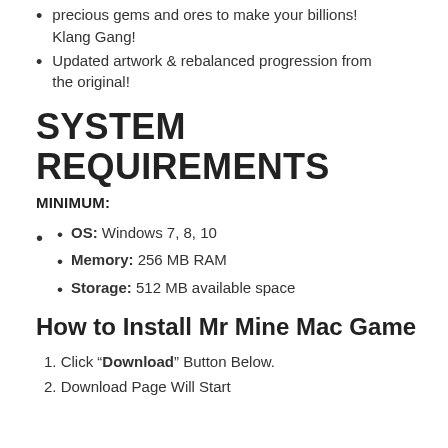precious gems and ores to make your billions! Klang Gang!
Updated artwork & rebalanced progression from the original!
SYSTEM REQUIREMENTS
MINIMUM:
OS: Windows 7, 8, 10
Memory: 256 MB RAM
Storage: 512 MB available space
How to Install Mr Mine Mac Game
Click "Download" Button Below.
Download Page Will Start